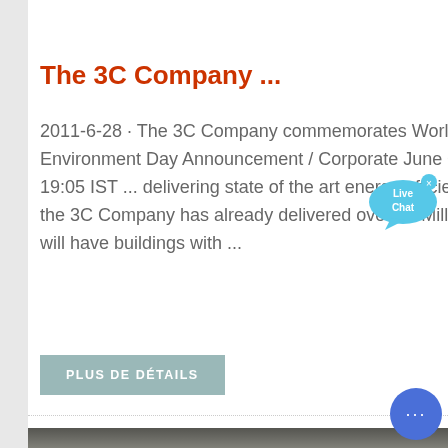[Figure (photo): Partial top image of what appears to be an outdoor or textured landscape scene, cropped at the top of the page]
The 3C Company ...
2011-6-28 · The 3C Company commemorates World Environment Day Announcement / Corporate June 05, 2010, 19:05 IST ... delivering state of the art energy efficient buildings the 3C Company has already delivered over 12 Million ... art SEZ will have buildings with ...
PLUS DE DÉTAILS
[Figure (photo): Partial bottom image showing what appears to be a building or industrial structure interior, cropped at the bottom of the page]